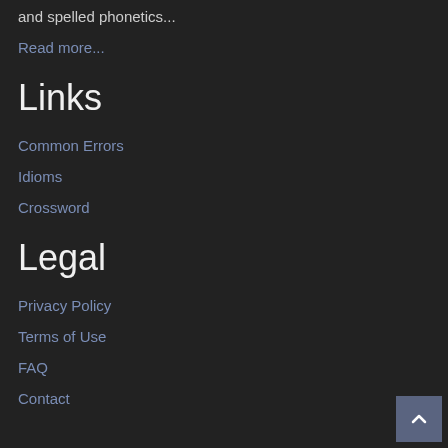and spelled phonetics...
Read more...
Links
Common Errors
Idioms
Crossword
Legal
Privacy Policy
Terms of Use
FAQ
Contact